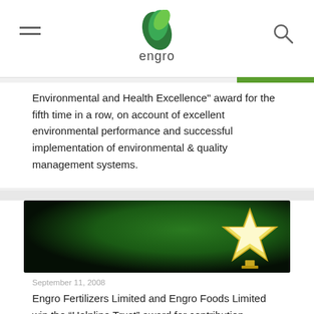engro
Environmental and Health Excellence" award for the fifth time in a row, on account of excellent environmental performance and successful implementation of environmental & quality management systems.
[Figure (photo): Golden star trophy award on a dark green background]
September 11, 2008
Engro Fertilizers Limited and Engro Foods Limited win the “Helpline Trust” award for contribution towards Corporate Social Responsibility in Pakistan.